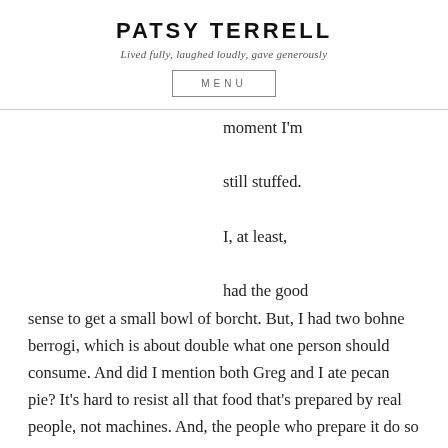PATSY TERRELL
Lived fully, laughed loudly, gave generously
MENU
moment I'm still stuffed. I, at least, had the good sense to get a small bowl of borcht. But, I had two bohne berrogi, which is about double what one person should consume. And did I mention both Greg and I ate pecan pie? It's hard to resist all that food that's prepared by real people, not machines. And, the people who prepare it do so with wonderful intention, which I'm convinced impacts